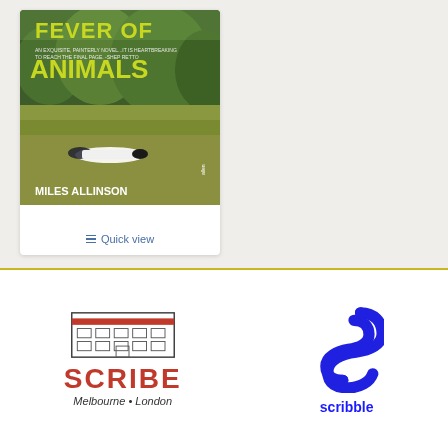[Figure (photo): Book cover of 'Fever of Animals' by Miles Allinson, shown in a white product card with a Quick view link below]
≡ Quick view
[Figure (logo): Scribe Publications logo: building illustration above red SCRIBE text with 'Melbourne • London' subtitle]
[Figure (logo): Scribble logo: blue stylized S letter above 'scribble' text in blue]